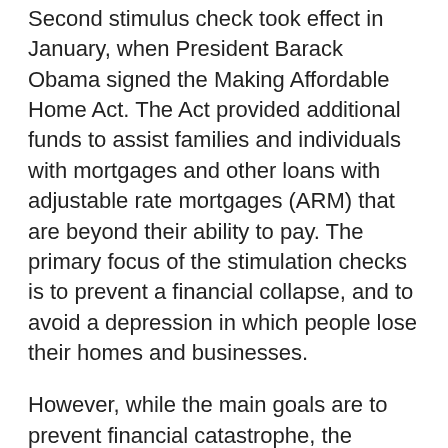Second stimulus check took effect in January, when President Barack Obama signed the Making Affordable Home Act. The Act provided additional funds to assist families and individuals with mortgages and other loans with adjustable rate mortgages (ARM) that are beyond their ability to pay. The primary focus of the stimulation checks is to prevent a financial collapse, and to avoid a depression in which people lose their homes and businesses.
However, while the main goals are to prevent financial catastrophe, the second Stimulus Checks will also provide tax relief to owners of modest income that do not have dependents. If you have been granted a stimulus check and you are unable to qualify for the assistance through the first step of the program, you may be eligible for the second